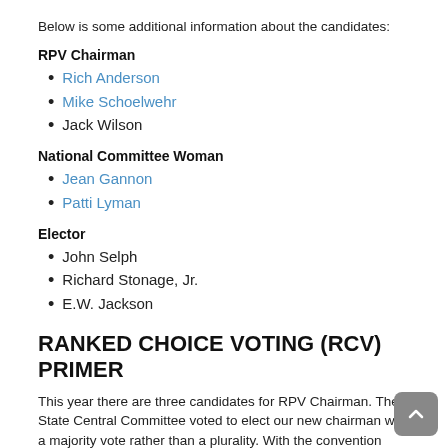Below is some additional information about the candidates:
RPV Chairman
Rich Anderson
Mike Schoelwehr
Jack Wilson
National Committee Woman
Jean Gannon
Patti Lyman
Elector
John Selph
Richard Stonage, Jr.
E.W. Jackson
RANKED CHOICE VOTING (RCV) PRIMER
This year there are three candidates for RPV Chairman. The State Central Committee voted to elect our new chairman with a majority vote rather than a plurality. With the convention format we are